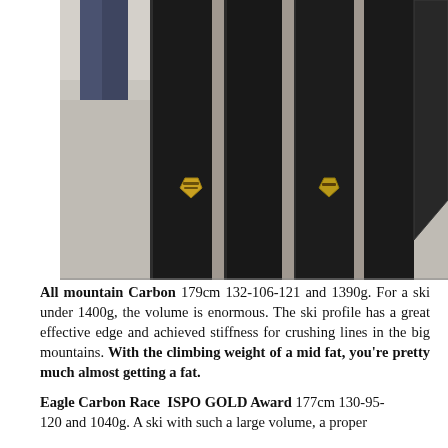[Figure (photo): Photo of multiple dark/black skis standing upright on a light gray carpet floor, with people's legs and shoes visible in the background. Two skis have gold shield-shaped logo badges visible on them.]
All mountain Carbon 179cm 132-106-121 and 1390g. For a ski under 1400g, the volume is enormous. The ski profile has a great effective edge and achieved stiffness for crushing lines in the big mountains. With the climbing weight of a mid fat, you're pretty much almost getting a fat.
Eagle Carbon Race  ISPO GOLD Award 177cm 130-95-120 and 1040g. A ski with such a large volume, a proper